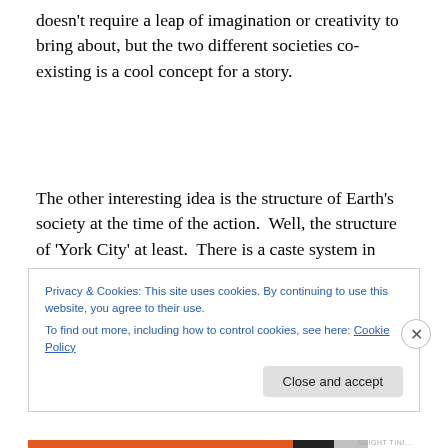doesn't require a leap of imagination or creativity to bring about, but the two different societies co-existing is a cool concept for a story.
The other interesting idea is the structure of Earth's society at the time of the action.  Well, the structure of 'York City' at least.  There is a caste system in place operating in a kind of socialist police state.  It's insinuated
Privacy & Cookies: This site uses cookies. By continuing to use this website, you agree to their use.
To find out more, including how to control cookies, see here: Cookie Policy
Close and accept